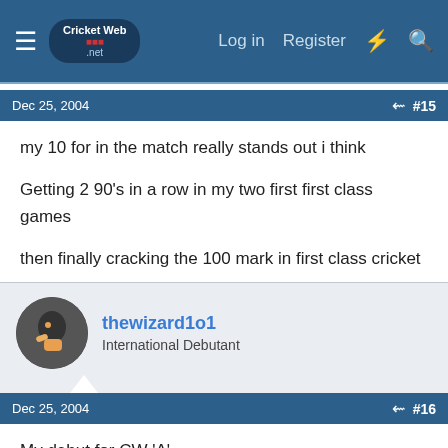CricketWeb.net — Log in  Register
Dec 25, 2004  #15
my 10 for in the match really stands out i think

Getting 2 90's in a row in my two first first class games

then finally cracking the 100 mark in first class cricket
thewizard1o1
International Debutant
Dec 25, 2004  #16
My debut for CW 'A'.

My debut for CW Green.

Winning the FC MVP award in my dev league debut season.